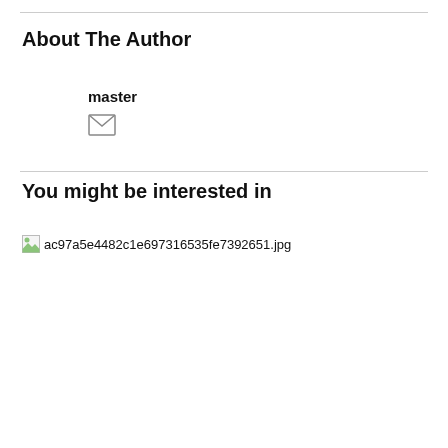About The Author
master
[Figure (other): Email/envelope icon]
You might be interested in
[Figure (other): Broken image placeholder: ac97a5e4482c1e697316535fe7392651.jpg]